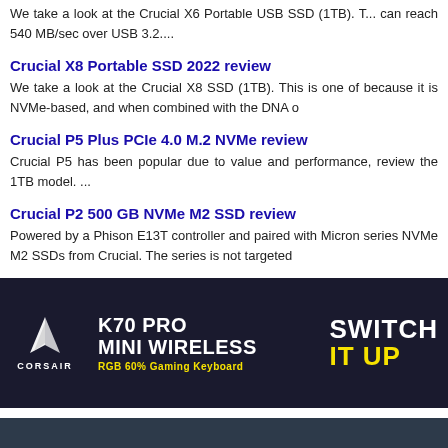We take a look at the Crucial X6 Portable USB SSD (1TB). T... can reach 540 MB/sec over USB 3.2....
Crucial X8 Portable SSD 2022 review
We take a look at the Crucial X8 SSD (1TB). This is one of because it is NVMe-based, and when combined with the DNA o
Crucial P5 Plus PCIe 4.0 M.2 NVMe review
Crucial P5 has been popular due to value and performance, review the 1TB model. ...
Crucial P2 500 GB NVMe M2 SSD review
Powered by a Phison E13T controller and paired with Micron series NVMe M2 SSDs from Crucial. The series is not targeted
[Figure (photo): Corsair K70 PRO MINI WIRELESS RGB 60% Gaming Keyboard advertisement banner with Corsair logo and 'Switch It Up' slogan]